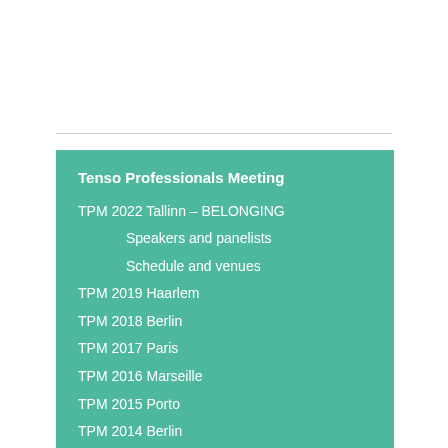Tenso Professionals Meeting
TPM 2022 Tallinn – BELONGING
Speakers and panelists
Schedule and venues
TPM 2019 Haarlem
TPM 2018 Berlin
TPM 2017 Paris
TPM 2016 Marseille
TPM 2015 Porto
TPM 2014 Berlin
TPM 2013 Barcelona
TPM 2012 Paris